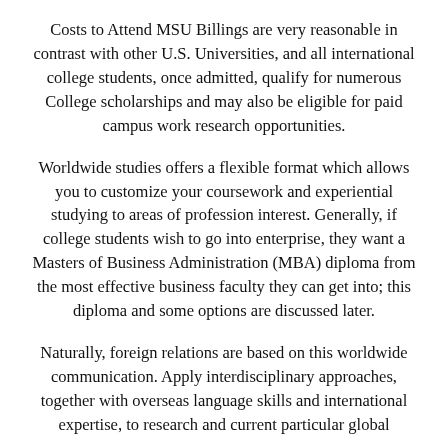Costs to Attend MSU Billings are very reasonable in contrast with other U.S. Universities, and all international college students, once admitted, qualify for numerous College scholarships and may also be eligible for paid campus work research opportunities.
Worldwide studies offers a flexible format which allows you to customize your coursework and experiential studying to areas of profession interest. Generally, if college students wish to go into enterprise, they want a Masters of Business Administration (MBA) diploma from the most effective business faculty they can get into; this diploma and some options are discussed later.
Naturally, foreign relations are based on this worldwide communication. Apply interdisciplinary approaches, together with overseas language skills and international expertise, to research and current particular global points. The Worldwide Research Program embraces...